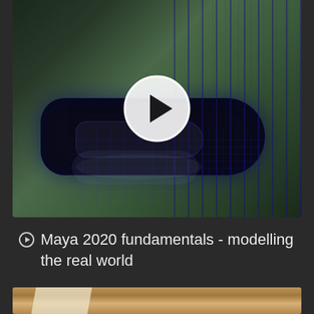[Figure (screenshot): Video thumbnail showing a 3D wireframe model of a car door handle in Maya 2020, with blue grid lines over a dark object on a greenish blurred background. A large white play button circle is centered on the image.]
Maya 2020 fundamentals - modelling the real world
[Figure (screenshot): Partial view of a second video thumbnail below, showing a warm orange/amber surface with what appears to be paper or an object, cropped at the bottom of the page.]